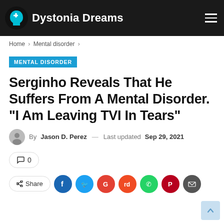Dystonia Dreams
Home > Mental disorder >
MENTAL DISORDER
Serginho Reveals That He Suffers From A Mental Disorder. “I Am Leaving TVI In Tears”
By Jason D. Perez — Last updated Sep 29, 2021
0
Share